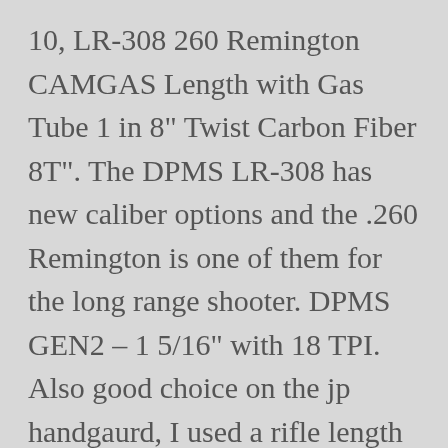10, LR-308 260 Remington CAMGAS Length with Gas Tube 1 in 8" Twist Carbon Fiber 8T". The DPMS LR-308 has new caliber options and the .260 Remington is one of them for the long range shooter. DPMS GEN2 – 1 5/16" with 18 TPI. Also good choice on the jp handgaurd, I used a rifle length one and I love it. I have a LR 260 heavy barrel that I recently replaced with a Lilja 20" barrel in 308. The aerospace-grade carbon fiber used has a specific strength up to 30 times that of stainless steel and a specific stiffness up to 7 times greater than steel. The Glock platform includes options that are threaded or non-threaded faults without warranty of any kind either. Oxy-Nitride LR-308 BPS Gen 2 Stainless /DPMS